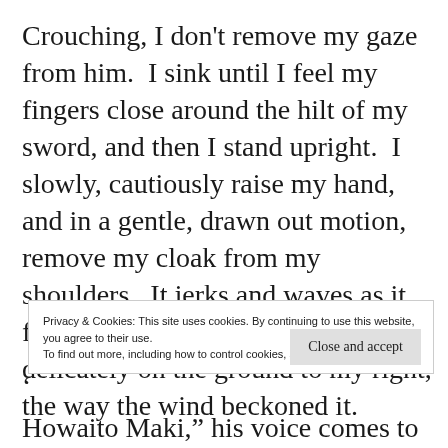Crouching, I don't remove my gaze from him.  I sink until I feel my fingers close around the hilt of my sword, and then I stand upright.  I slowly, cautiously raise my hand, and in a gentle, drawn out motion, remove my cloak from my shoulders.  It jerks and waves as it flows away from my body, alighting delicately on the ground to my right, the way the wind beckoned it.
Privacy & Cookies: This site uses cookies. By continuing to use this website, you agree to their use. To find out more, including how to control cookies, see here: Cookie Policy
Close and accept
‘ Howaito Maki,” his voice comes to me from